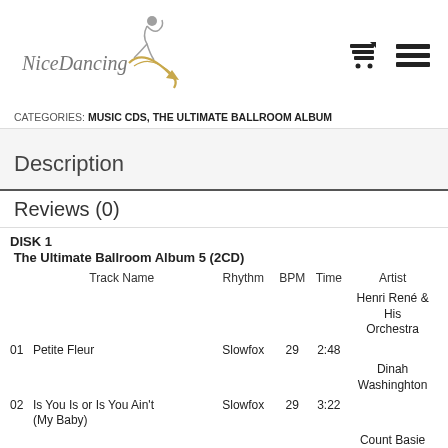[Figure (logo): NiceDancing logo with stylized dancing figure silhouette and swoosh lines in gold and grey]
CATEGORIES: MUSIC CDS, THE ULTIMATE BALLROOM ALBUM
Description
Reviews (0)
|  | Track Name | Rhythm | BPM | Time | Artist |
| --- | --- | --- | --- | --- | --- |
| 01 | Petite Fleur | Slowfox | 29 | 2:48 | Henri René & His Orchestra |
| 02 | Is You Is or Is You Ain't (My Baby) | Slowfox | 29 | 3:22 | Dinah Washinghton |
| 03 | Goldfingero | Slowfox | 29 | 4:07 | & His... |